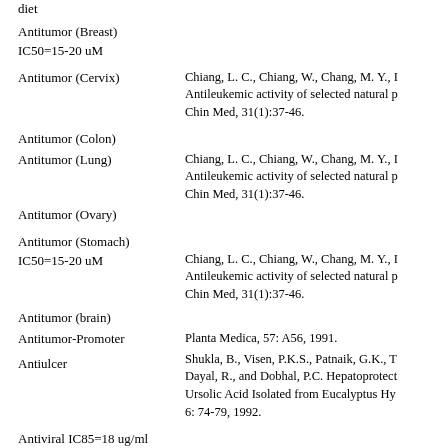diet
Antitumor (Breast) IC50=15-20 uM
Antitumor (Cervix)
Chiang, L. C., Chiang, W., Chang, M. Y., Antileukemic activity of selected natural p... Chin Med, 31(1):37-46.
Antitumor (Colon)
Antitumor (Lung)
Antitumor (Ovary)
Chiang, L. C., Chiang, W., Chang, M. Y., Antileukemic activity of selected natural p... Chin Med, 31(1):37-46.
Antitumor (Stomach) IC50=15-20 uM
Chiang, L. C., Chiang, W., Chang, M. Y., Antileukemic activity of selected natural p... Chin Med, 31(1):37-46.
Antitumor (brain)
Antitumor-Promoter
Planta Medica, 57: A56, 1991.
Antiulcer
Shukla, B., Visen, P.K.S., Patnaik, G.K., T... Dayal, R., and Dobhal, P.C. Hepatoprotec... Ursolic Acid Isolated from Eucalyptus Hy... 6: 74-79, 1992.
Antiviral IC85=18 ug/ml
Aromatase-Inhibitor